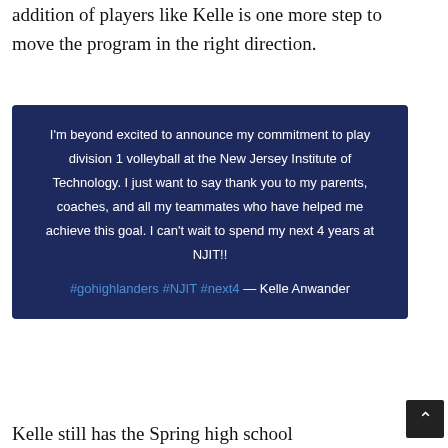addition of players like Kelle is one more step to move the program in the right direction.
[Figure (screenshot): Dark blue quote box containing text: I'm beyond excited to announce my commitment to play division 1 volleyball at the New Jersey Institute of Technology. I just want to say thank you to my parents, coaches, and all my teammates who have helped me achieve this goal. I can't wait to spend my next 4 years at NJIT!! #gohighlanders #NJIT #next4 — Kelle Anwander]
Kelle still has the Spring high school